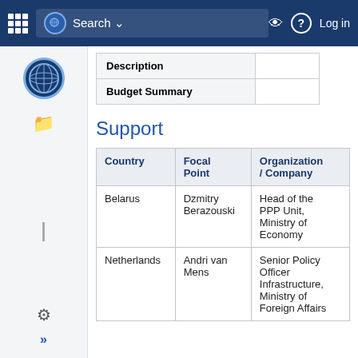Search | Log in
| Description |  |
| --- | --- |
| Budget Summary |  |
Support
| Country | Focal Point | Organization / Company |
| --- | --- | --- |
| Belarus | Dzmitry Berazouski | Head of the PPP Unit, Ministry of Economy |
| Netherlands | Andri van Mens | Senior Policy Officer Infrastructure, Ministry of Foreign Affairs |